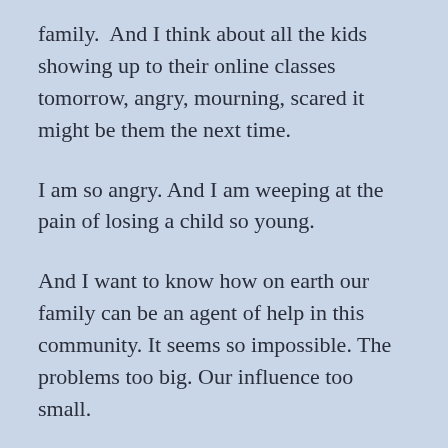family.  And I think about all the kids showing up to their online classes tomorrow, angry, mourning, scared it might be them the next time.
I am so angry. And I am weeping at the pain of losing a child so young.
And I want to know how on earth our family can be an agent of help in this community. It seems so impossible. The problems too big. Our influence too small.
My husband and I were driving in the countryside yesterday. We have always longed to live in the country. We talk about farms and cabins in the woods. We toss around ideas of how we could make it happen.
Yesterday, as we drove through the beautiful scenery